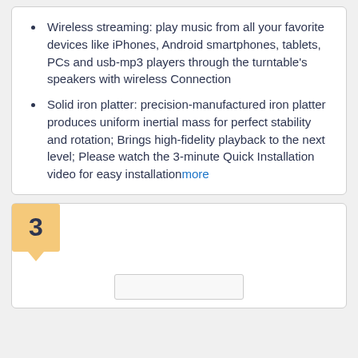Wireless streaming: play music from all your favorite devices like iPhones, Android smartphones, tablets, PCs and usb-mp3 players through the turntable's speakers with wireless Connection
Solid iron platter: precision-manufactured iron platter produces uniform inertial mass for perfect stability and rotation; Brings high-fidelity playback to the next level; Please watch the 3-minute Quick Installation video for easy installationmore
3